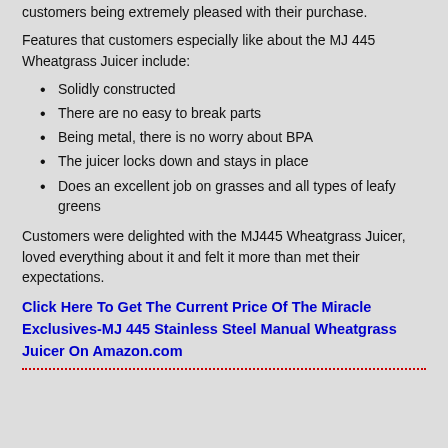customers being extremely pleased with their purchase.
Features that customers especially like about the MJ 445 Wheatgrass Juicer include:
Solidly constructed
There are no easy to break parts
Being metal, there is no worry about BPA
The juicer locks down and stays in place
Does an excellent job on grasses and all types of leafy greens
Customers were delighted with the MJ445 Wheatgrass Juicer, loved everything about it and felt it more than met their expectations.
Click Here To Get The Current Price Of The Miracle Exclusives-MJ 445 Stainless Steel Manual Wheatgrass Juicer On Amazon.com